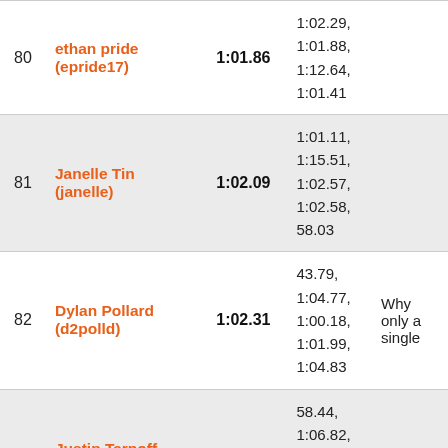| # | Name | Best | Times | Note |
| --- | --- | --- | --- | --- |
| 80 | ethan pride (epride17) | 1:01.86 | 1:02.29,
1:01.88,
1:12.64,
1:01.41 |  |
| 81 | Janelle Tin (janelle) | 1:02.09 | 1:01.11,
1:15.51,
1:02.57,
1:02.58,
58.03 |  |
| 82 | Dylan Pollard (d2polld) | 1:02.31 | 43.79,
1:04.77,
1:00.18,
1:01.99,
1:04.83 | Why only a single |
| 83 | Justin Tarnoff (audiophile121) | 1:02.44 | 58.44,
1:06.82,
1:37.28,
1:02.07,
51.45 |  |
| 84 | ... |  | 1:03.30,
1:02.61, |  |